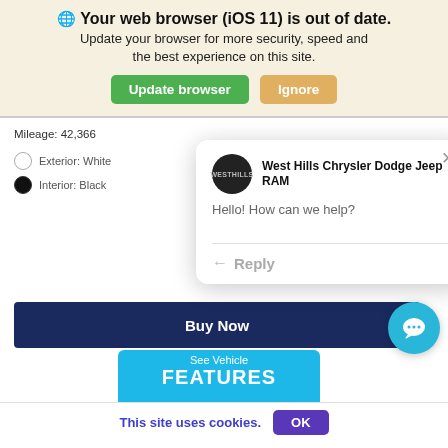🌐 Your web browser (iOS 11) is out of date. Update your browser for more security, speed and the best experience on this site.
Update browser | Ignore
Mileage: 42,366
Exterior: White
Interior: Black
West Hills Chrysler Dodge Jeep RAM
Hello! How can we help?
Reply
Buy Now
See Vehicle FEATURES
This site uses cookies. OK